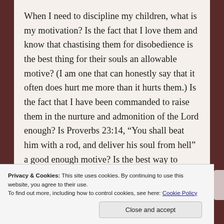When I need to discipline my children, what is my motivation?  Is the fact that I love them and know that chastising them for disobedience is the best thing for their souls an allowable motive?  (I am one that can honestly say that it often does hurt me more than it hurts them.)  Is the fact that I have been commanded to raise them in the nurture and admonition of the Lord enough?  Is Proverbs 23:14, “You shall beat him with a rod, and deliver his soul from hell” a good enough motive?  Is the best way to glorify God in the chastising of my children really to go through whatever mental
Privacy & Cookies: This site uses cookies. By continuing to use this website, you agree to their use.
To find out more, including how to control cookies, see here: Cookie Policy
Close and accept